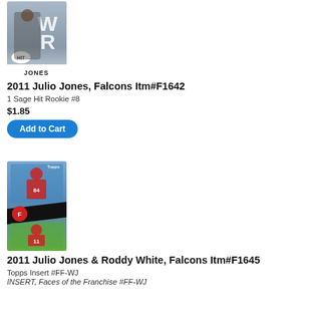[Figure (photo): Julio Jones 2011 Sage Hit Rookie #8 trading card showing player photo with WR position label and JONES name plate]
2011 Julio Jones, Falcons Itm#F1642
1 Sage Hit Rookie #8
$1.85
Add to Cart
[Figure (photo): 2011 Topps Insert Julio Jones and Roddy White Falcons Faces of the Franchise #FF-WJ trading card showing two players]
2011 Julio Jones & Roddy White, Falcons Itm#F1645
Topps Insert #FF-WJ
INSERT, Faces of the Franchise #FF-WJ